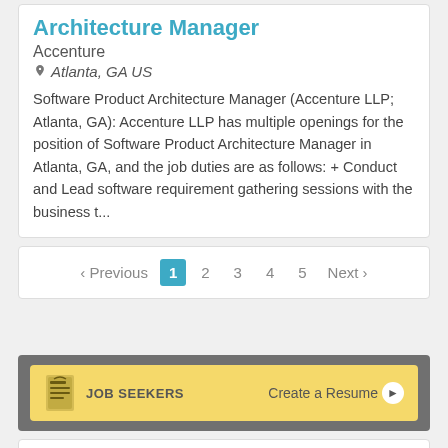Architecture Manager
Accenture
Atlanta, GA US
Software Product Architecture Manager (Accenture LLP; Atlanta, GA): Accenture LLP has multiple openings for the position of Software Product Architecture Manager in Atlanta, GA, and the job duties are as follows: + Conduct and Lead software requirement gathering sessions with the business t...
< Previous  1  2  3  4  5  Next >
JOB SEEKERS  Create a Resume ▷
[Figure (infographic): Social media icons: Twitter, LinkedIn, Facebook, RSS feed on green rounded square backgrounds]